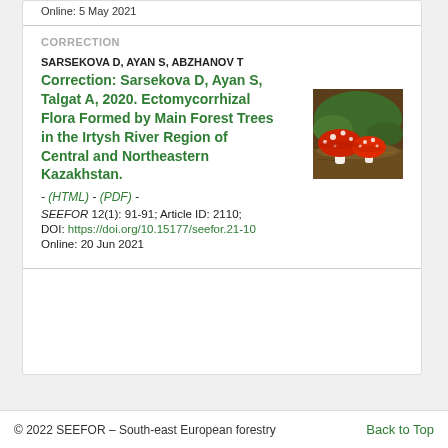Online: 5 May 2021
CORRECTION
SARSEKOVA D, AYAN S, ABZHANOV T
Correction: Sarsekova D, Ayan S, Talgat A, 2020. Ectomycorrhizal Flora Formed by Main Forest Trees in the Irtysh River Region of Central and Northeastern Kazakhstan.
- (HTML) - (PDF) -
SEEFOR 12(1): 91-91; Article ID: 2110;
DOI: https://doi.org/10.15177/seefor.21-10
Online: 20 Jun 2021
[Figure (photo): Photograph of red-capped mushrooms (Amanita muscaria) with white spots, growing in forest litter]
© 2022 SEEFOR – South-east European forestry    Back to Top